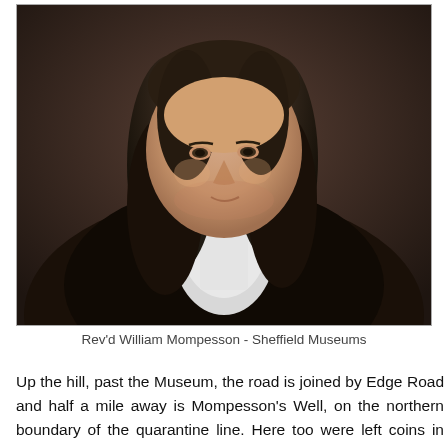[Figure (photo): Oil portrait painting of Rev'd William Mompesson, a clergyman dressed in black with a white clerical collar/bands, set against a dark brown background. The subject has long dark hair and is depicted from the chest up in a formal pose.]
Rev'd William Mompesson - Sheffield Museums
Up the hill, past the Museum, the road is joined by Edge Road and half a mile away is Mompesson's Well, on the northern boundary of the quarantine line. Here too were left coins in vinegar, as payment for